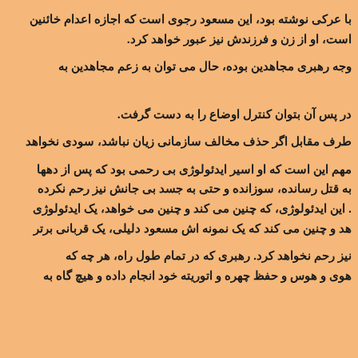با عرکی نوشته بود، این مسعود رجوی است که اجازه اعدام خائنین است، او از زن و فرزندش نیز عبور خواهد کرد.
وجه رهبری مجاهدین بوده، حال می توان به زعم مجاهدین به
در پس آن بتوان کنترل اوضاع را به دست گرفت.
طرف مقابل اگر حذف مخالف سازمانی زیان نباشد، سودی نخواهد
مهم این است که او اسیر ایدئولوژی بی رحمی بود که پس از دهها به قتل رسانده، سوزانده و حتی به جسد بی جانش نیز رحم نکرده . این ایدئولوژی، که چنین می کند و چنین می خواهد، یک ایدئولوژی هد و چنین می کند که یک نمونه اش مسعود دلیلی، یک قربانی برتر
نیز رحم نخواهد کرد. رهبری که در تمام طول راه، هر چه که هوی و هوس و حفظ چهره و اتوریته خود انجام داده و هیچ گاه به